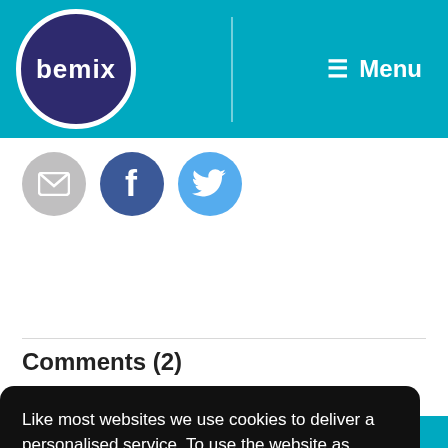bemix | Menu
[Figure (infographic): Social sharing icons: email (grey circle), Facebook (dark blue circle with f), Twitter (light blue circle with bird)]
Comments (2)
Like most websites we use cookies to deliver a personalised service. To use the website as intended please accept cookies. Please see our Privacy Policy for more information.
Accept Cookies
Click or just drag and drop a photo